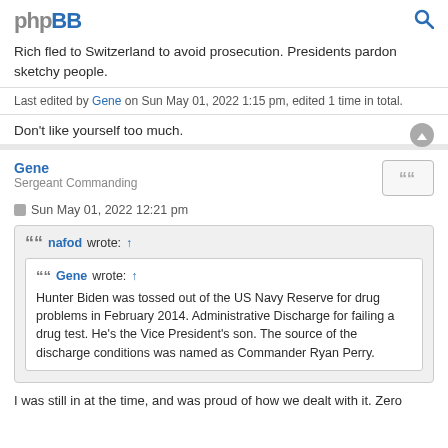phpBB
Rich fled to Switzerland to avoid prosecution. Presidents pardon sketchy people.
Last edited by Gene on Sun May 01, 2022 1:15 pm, edited 1 time in total.
Don't like yourself too much.
Gene
Sergeant Commanding
Sun May 01, 2022 12:21 pm
nafod wrote: ↑
Gene wrote: ↑
Hunter Biden was tossed out of the US Navy Reserve for drug problems in February 2014. Administrative Discharge for failing a drug test. He's the Vice President's son. The source of the discharge conditions was named as Commander Ryan Perry.
I was still in at the time, and was proud of how we dealt with it. Zero